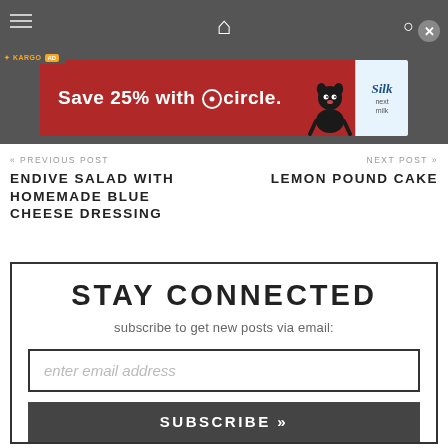[Figure (screenshot): Top navigation bar with hamburger menu, home icon, and search icon on dark gray background]
[Figure (screenshot): Kargo Ad label overlay on top left of ad banner area]
[Figure (screenshot): Target/Silk advertisement banner: 'Save 25% with Target circle.' with Silk milk product image on red background]
« PREVIOUS POST
ENDIVE SALAD WITH HOMEMADE BLUE CHEESE DRESSING
NEXT POST »
LEMON POUND CAKE
STAY CONNECTED
subscribe to get new posts via email:
enter email address
SUBSCRIBE »